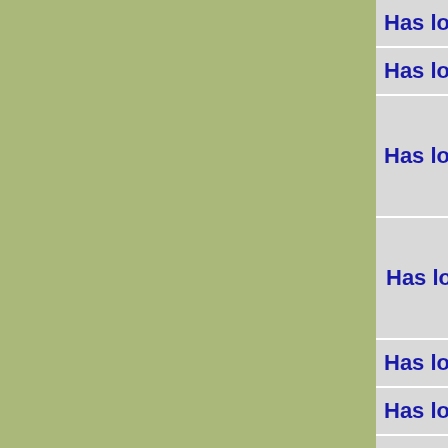| Has location county/p... |
| Has location locality/p... |
| Has location neighb... |
| Has location neighborhood/locality/p... |
| Has location state-p... |
| Has locatio... |
| Historic ... |
| Location Coo... |